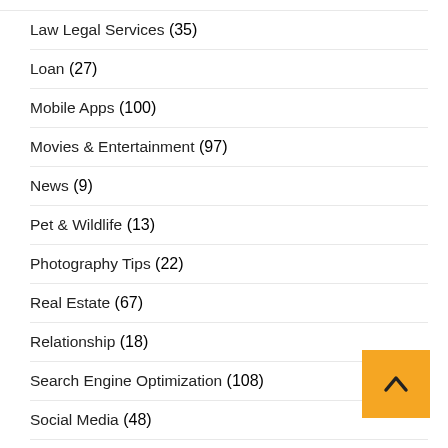Law Legal Services (35)
Loan (27)
Mobile Apps (100)
Movies & Entertainment (97)
News (9)
Pet & Wildlife (13)
Photography Tips (22)
Real Estate (67)
Relationship (18)
Search Engine Optimization (108)
Social Media (48)
Sports (18)
Technology (812)
Tips & Tricks (64)